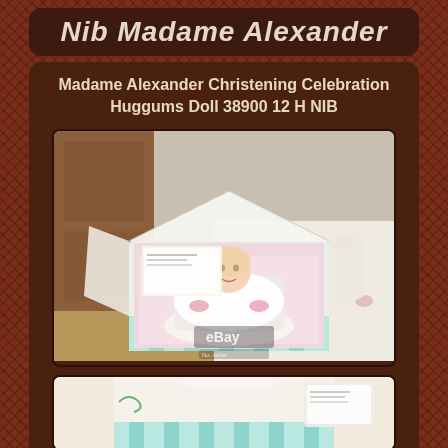Nib Madame Alexander
Madame Alexander Christening Celebration Huggums Doll 38900 12 H NIB
[Figure (photo): Photo of Madame Alexander Christening Celebration Huggums Doll 38900 in open box, showing baby doll in white christening gown lying in pink-lined box with decorative floral box exterior, eBay watermark visible]
[Figure (photo): Partial photo showing bottom portion of doll packaging, with box lid and additional product details visible]